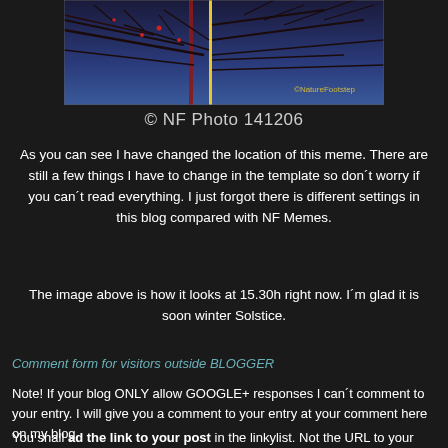[Figure (photo): A nighttime/dusk photo of bare tree branches against a deep blue sky with a yellow vertical light or pole, watermarked with © NatureFootstep]
© NF Photo 141206
As you can see I have changed the location of this meme. There are still a few things I have to change in the template so don´t worry if you can´t read everything. I just forgot there is different settings in this blog compared with NF Memes.
The image above is how it looks at 15.30h right now. I´m glad it is soon winter Solstice.
Comment form for visitors outside BLOGGER
Note! If your blog ONLY allow GOOGLE+ responses I can´t comment to your entry. I will give you a comment to your entry at your comment here on my blog.
You shall ad the link to your post in the linkylist. Not the URL to your blog or GOOGLE+. It´s a courtesy to you...